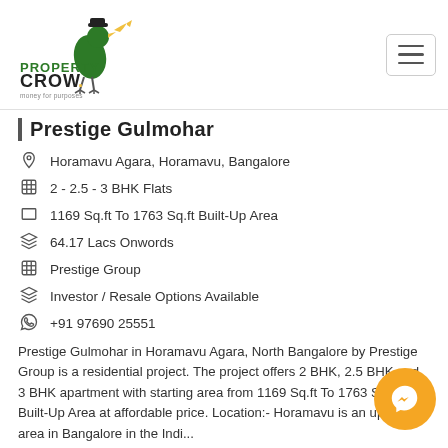Property Crow
Prestige Gulmohar
Horamavu Agara, Horamavu, Bangalore
2 - 2.5 - 3 BHK Flats
1169 Sq.ft To 1763 Sq.ft Built-Up Area
64.17 Lacs Onwords
Prestige Group
Investor / Resale Options Available
+91 97690 25551
Prestige Gulmohar in Horamavu Agara, North Bangalore by Prestige Group is a residential project. The project offers 2 BHK, 2.5 BHK and 3 BHK apartment with starting area from 1169 Sq.ft To 1763 Sq.ft Built-Up Area at affordable price. Location:- Horamavu is an upcoming area in Bangalore in the Indi...